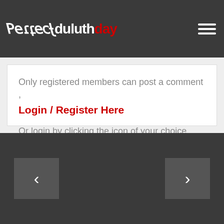erfect duluthday
Only registered members can post a comment ,
Login / Register Here
Or login by clicking the icon of your choice below: